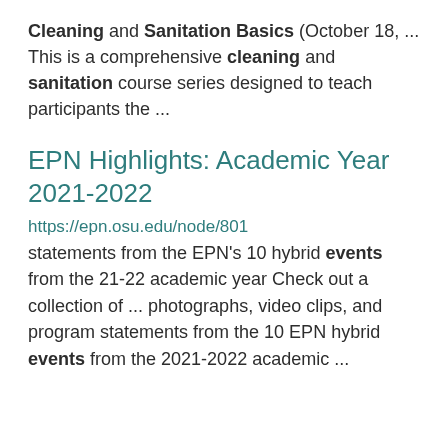Cleaning and Sanitation Basics (October 18, ... This is a comprehensive cleaning and sanitation course series designed to teach participants the ...
EPN Highlights: Academic Year 2021-2022
https://epn.osu.edu/node/801 statements from the EPN's 10 hybrid events from the 21-22 academic year Check out a collection of ... photographs, video clips, and program statements from the 10 EPN hybrid events from the 2021-2022 academic ...